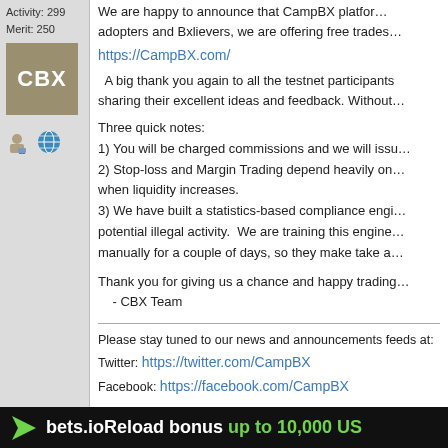Activity: 299
Merit: 250
[Figure (logo): CBX logo - grey/tan square with white bold text 'CBX']
[Figure (illustration): Small forum user icons: person icon and globe icon]
We are happy to announce that CampBX platform... adopters and Bxlievers, we are offering free trades...
https://CampBX.com/
A big thank you again to all the testnet participants sharing their excellent ideas and feedback. Without...
Three quick notes:
1) You will be charged commissions and we will issu...
2) Stop-loss and Margin Trading depend heavily on... when liquidity increases.
3) We have built a statistics-based compliance engi... potential illegal activity.  We are training this engine... manually for a couple of days, so they make take a...
Thank you for giving us a chance and happy trading...
    - CBX Team
Please stay tuned to our news and announcements feeds at:
Twitter: https://twitter.com/CampBX
Facebook: https://facebook.com/CampBX
bets.ioReload bonus up to 10,000 US